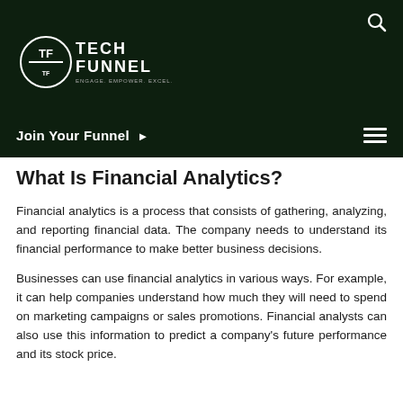TechFunnel — Engage. Empower. Excel.
What Is Financial Analytics?
Financial analytics is a process that consists of gathering, analyzing, and reporting financial data. The company needs to understand its financial performance to make better business decisions.
Businesses can use financial analytics in various ways. For example, it can help companies understand how much they will need to spend on marketing campaigns or sales promotions. Financial analysts can also use this information to predict a company's future performance and its stock price.